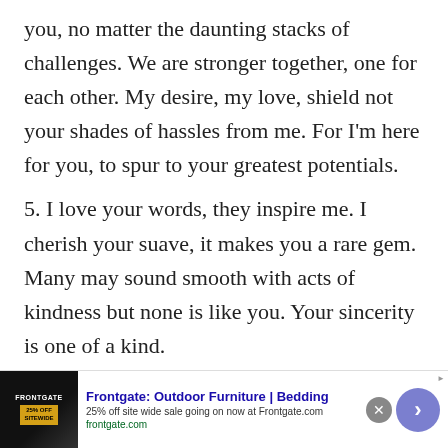you, no matter the daunting stacks of challenges. We are stronger together, one for each other. My desire, my love, shield not your shades of hassles from me. For I'm here for you, to spur to your greatest potentials.
5. I love your words, they inspire me. I cherish your suave, it makes you a rare gem. Many may sound smooth with acts of kindness but none is like you. Your sincerity is one of a kind.
6. I can feel your presence here; I can feel your
[Figure (other): Advertisement banner for Frontgate: Outdoor Furniture | Bedding. Shows 25% off site wide sale going on now at Frontgate.com. frontgate.com. Includes a close button (x) and a forward arrow button.]